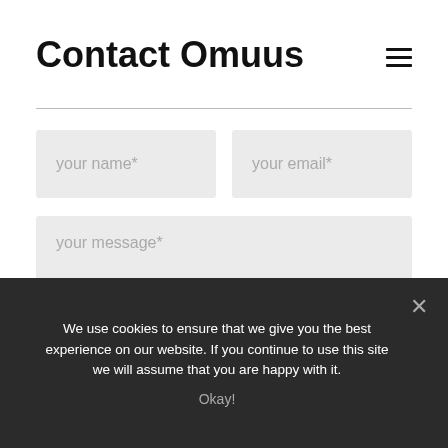Contact Omuus
[Figure (other): Hamburger menu icon (three horizontal lines)]
your name*
your email*
your message*
We use cookies to ensure that we give you the best experience on our website. If you continue to use this site we will assume that you are happy with it.
Okay!